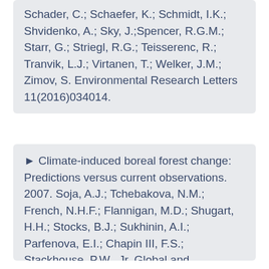Schader, C.; Schaefer, K.; Schmidt, I.K.; Shvidenko, A.; Sky, J.;Spencer, R.G.M.; Starr, G.; Striegl, R.G.; Teisserenc, R.; Tranvik, L.J.; Virtanen, T.; Welker, J.M.; Zimov, S. Environmental Research Letters 11(2016)034014.
▶ Climate-induced boreal forest change: Predictions versus current observations. 2007. Soja, A.J.; Tchebakova, N.M.; French, N.H.F.; Flannigan, M.D.; Shugart, H.H.; Stocks, B.J.; Sukhinin, A.I.; Parfenova, E.I.; Chapin III, F.S.; Stackhouse, P.W., Jr. Global and